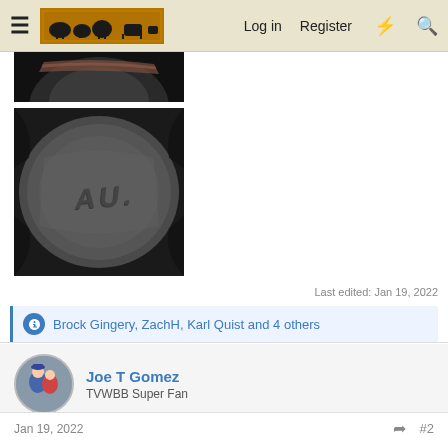Log in  Register
[Figure (photo): Top portion of a dark cast iron object, close-up photo showing edge and bottom of object, dark background]
[Figure (photo): Bottom of a cast iron pot or pan with 'AU' etched/stamped into the surface, dark gray metallic surface, photographed on black background]
Last edited: Jan 19, 2022
Brock Gingery, ZachH, Karl Quist and 4 others
Joe T Gomez
TVWBB Super Fan
Jan 19, 2022
#2